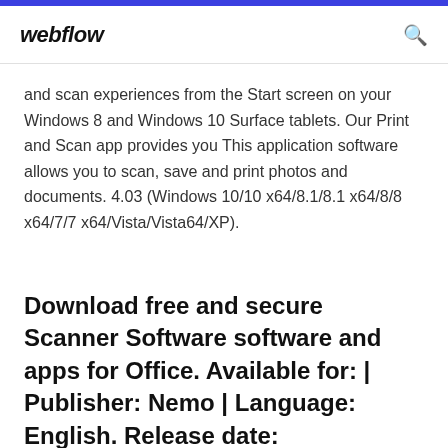webflow
and scan experiences from the Start screen on your Windows 8 and Windows 10 Surface tablets. Our Print and Scan app provides you This application software allows you to scan, save and print photos and documents. 4.03 (Windows 10/10 x64/8.1/8.1 x64/8/8 x64/7/7 x64/Vista/Vista64/XP).
Download free and secure Scanner Software software and apps for Office. Available for: | Publisher: Nemo | Language: English. Release date: